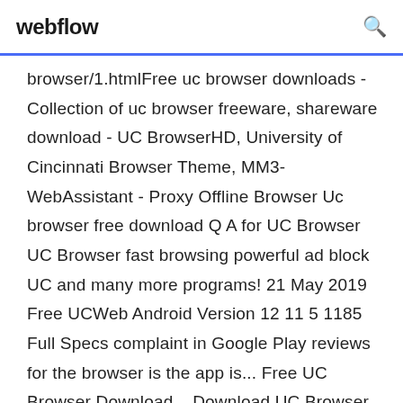webflow
browser/1.htmlFree uc browser downloads - Collection of uc browser freeware, shareware download - UC BrowserHD, University of Cincinnati Browser Theme, MM3-WebAssistant - Proxy Offline Browser Uc browser free download Q A for UC Browser UC Browser fast browsing powerful ad block UC and many more programs! 21 May 2019 Free UCWeb Android Version 12 11 5 1185 Full Specs complaint in Google Play reviews for the browser is the app is... Free UC Browser Download – Download UC Browser for PC: UC Browser has been a topmost choice for the judicious Android user, due to its speed and reliability, but now the field has expanded into the Windows desktop...